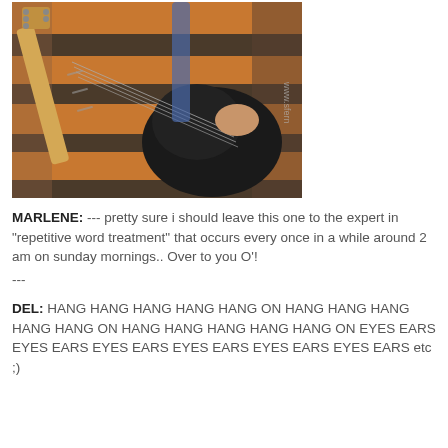[Figure (photo): Person wearing an orange and brown striped sweater playing a black electric bass guitar, torso only visible, watermark text partially visible on right side]
MARLENE: --- pretty sure i should leave this one to the expert in "repetitive word treatment" that occurs every once in a while around 2 am on sunday mornings.. Over to you O'! ---
DEL: HANG HANG HANG HANG HANG ON HANG HANG HANG HANG HANG ON HANG HANG HANG HANG HANG ON EYES EARS EYES EARS EYES EARS EYES EARS EYES EARS EYES EARS etc ;)